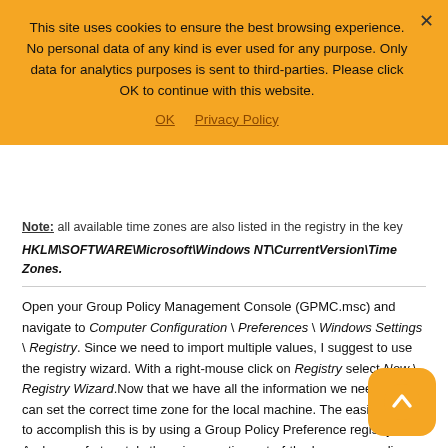To find out the exact value for each of the ten registry entries, first set the time zone manually in the local Date & Time configuration. Afterwards, simply check the aforementioned registry values.
This site uses cookies to ensure the best browsing experience. No personal data of any kind is ever used for any purpose. Only data for analytics purposes is sent to third-parties. Please click OK to continue with this website.
OK   Privacy Policy
Note: all available time zones are also listed in the registry in the key
HKLM\SOFTWARE\Microsoft\Windows NT\CurrentVersion\Time Zones.
Open your Group Policy Management Console (GPMC.msc) and navigate to Computer Configuration \ Preferences \ Windows Settings \ Registry. Since we need to import multiple values, I suggest to use the registry wizard. With a right-mouse click on Registry select New \ Registry Wizard.Now that we have all the information we need, we can set the correct time zone for the local machine. The easiest way to accomplish this is by using a Group Policy Preference registry item. And no, unfortunately there is no native out-of-the-box group policy setting or preference to configure the time zone. This goes for all Windows operating systems.